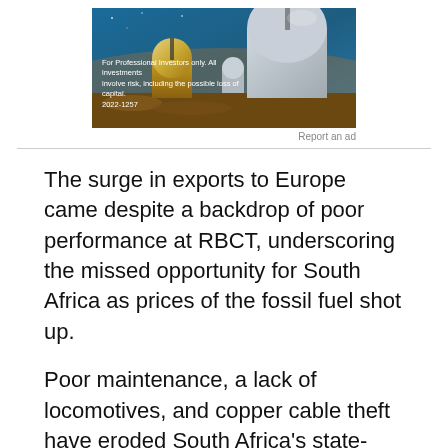[Figure (photo): Advertisement banner showing telescope domes at dusk with blue sky. Text overlay reads: 'For Professional Investors only. All investments involve risk, including the possible loss of capital. 2022-1257']
Report an ad
The surge in exports to Europe came despite a backdrop of poor performance at RBCT, underscoring the missed opportunity for South Africa as prices of the fossil fuel shot up.
Poor maintenance, a lack of locomotives, and copper cable theft have eroded South Africa's state-owned freight rail services which transport coal to RBCT and other ports. Some miners are using trucks to get their